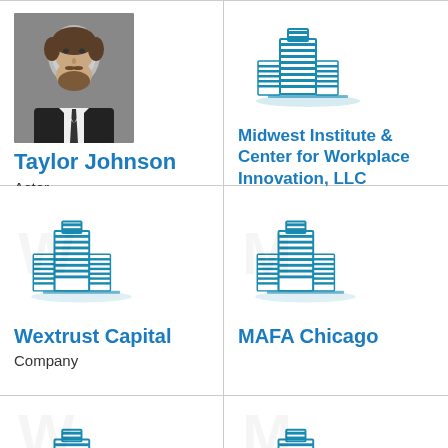[Figure (photo): Headshot photo of a young man with beard and dark suit]
Taylor Johnson
Actor
[Figure (logo): Blue building/skyscraper icon for Midwest Institute & Center for Workplace Innovation, LLC]
Midwest Institute & Center for Workplace Innovation, LLC
[Figure (logo): Blue building/skyscraper icon for Wextrust Capital]
Wextrust Capital
Company
[Figure (logo): Blue building/skyscraper icon for MAFA Chicago]
MAFA Chicago
[Figure (logo): Blue building/skyscraper icon (bottom left, partially visible)]
[Figure (logo): Blue building/skyscraper icon (bottom right, partially visible)]